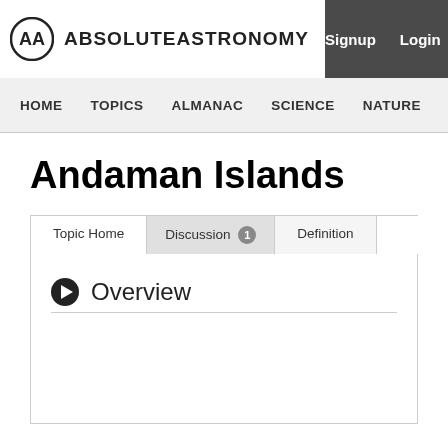ABSOLUTEASTRONOMY  Signup  Login
HOME  TOPICS  ALMANAC  SCIENCE  NATURE  PEOPLE
Andaman Islands
Topic Home  Discussion 1  Definition
Overview